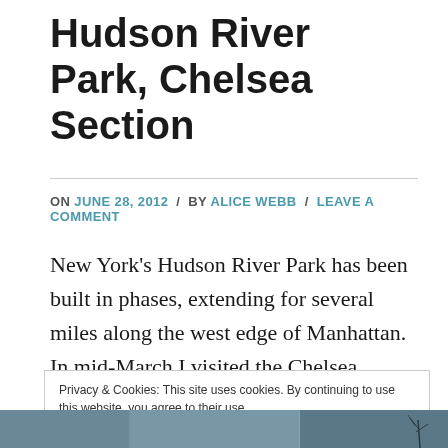Hudson River Park, Chelsea Section
ON JUNE 28, 2012  /  BY ALICE WEBB  /  LEAVE A COMMENT
New York's Hudson River Park has been built in phases, extending for several miles along the west edge of Manhattan. In mid-March I visited the Chelsea section, from Pier 62 to 29th Street.
Privacy & Cookies: This site uses cookies. By continuing to use this website, you agree to their use.
To find out more, including how to control cookies, see here: Cookie Policy
Close and accept
[Figure (photo): Partial view of a winter park scene with bare tree branches visible at right edge]